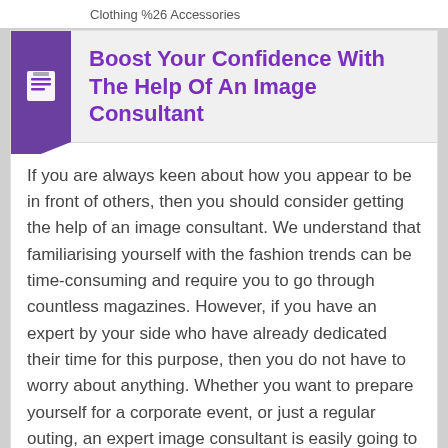Clothing %26 Accessories
Boost Your Confidence With The Help Of An Image Consultant
If you are always keen about how you appear to be in front of others, then you should consider getting the help of an image consultant. We understand that familiarising yourself with the fashion trends can be time-consuming and require you to go through countless magazines. However, if you have an expert by your side who have already dedicated their time for this purpose, then you do not have to worry about anything. Whether you want to prepare yourself for a corporate event, or just a regular outing, an expert image consultant is easily going to help you do so.